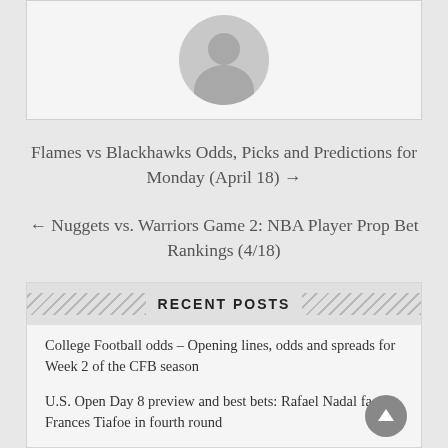[Figure (illustration): Anonymous user avatar placeholder — circular grey silhouette of a person on a light grey card background]
Flames vs Blackhawks Odds, Picks and Predictions for Monday (April 18) →
← Nuggets vs. Warriors Game 2: NBA Player Prop Bet Rankings (4/18)
RECENT POSTS
College Football odds – Opening lines, odds and spreads for Week 2 of the CFB season
U.S. Open Day 8 preview and best bets: Rafael Nadal faces Frances Tiafoe in fourth round
Opening College Football Week 2 Odds, Spreads and Early Predictions